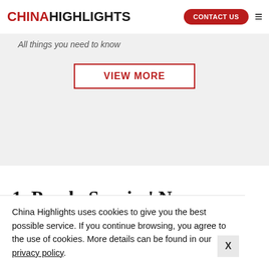CHINAHIGHLIGHTS  CONTACT US  ☰
All things you need to know
VIEW MORE
1. Panda Species' Names
China Highlights uses cookies to give you the best possible service. If you continue browsing, you agree to the use of cookies. More details can be found in our privacy policy.